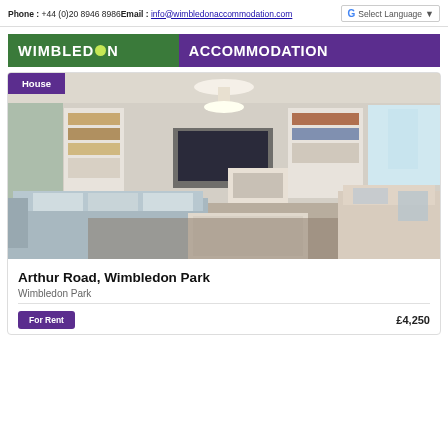Phone : +44 (0)20 8946 8986   Email : info@wimbledonaccommodation.com   Select Language
[Figure (logo): Wimbledon Accommodation logo: green background with WIMBLEDON text and tennis ball icon, purple background with ACCOMMODATION text]
[Figure (photo): Interior photo of a living room with sofas, fireplace, bookshelves, and natural light from windows. Has a purple 'House' badge in the top-left corner.]
Arthur Road, Wimbledon Park
Wimbledon Park
For Rent